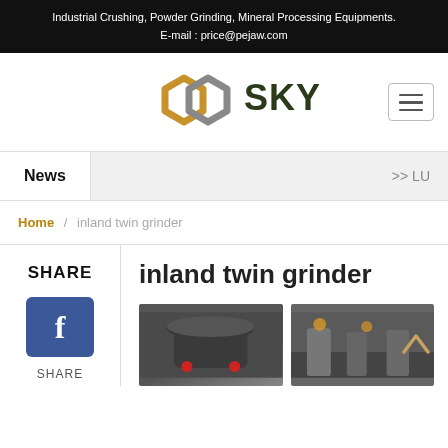Industrial Crushing, Powder Grinding, Mineral Processing Equipments.
E-mail : price@pejaw.com
[Figure (logo): OOSKY company logo with two interlocking hexagonal rings in gold/brown and grey colors, followed by SKY text in dark green]
News >> LU
Home / inland twin grinder
SHARE
[Figure (illustration): Facebook share button - blue square with white letter f]
SHARE
inland twin grinder
[Figure (photo): Industrial cone crusher equipment, grey colored, photographed outdoors]
[Figure (photo): Industrial grinding mill equipment in a factory/warehouse setting]